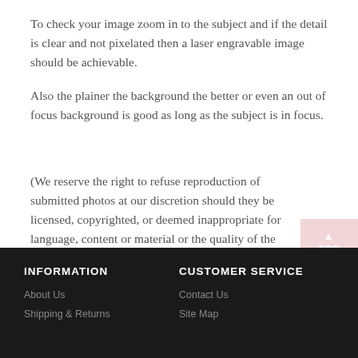To check your image zoom in to the subject and if the detail is clear and not pixelated then a laser engravable image should be achievable.
Also the plainer the background the better or even an out of focus background is good as long as the subject is in focus.
(We reserve the right to refuse reproduction of submitted photos at our discretion should they be licensed, copyrighted, or deemed inappropriate for language, content or material or the quality of the image is not suitable.)
INFORMATION | About Us | Shipping & Returns | CUSTOMER SERVICE | Contact Us | Site Map